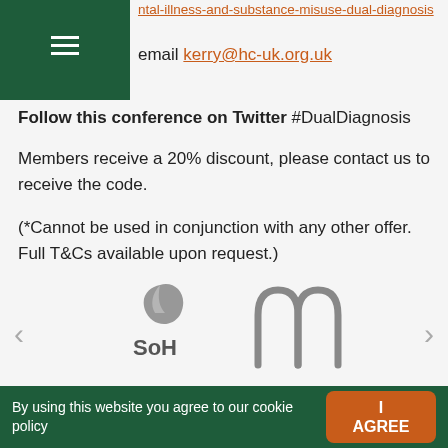ntal-illness-and-substance-misuse-dual-diagnosis
email kerry@hc-uk.org.uk
Follow this conference on Twitter #DualDiagnosis
Members receive a 20% discount, please contact us to receive the code.
(*Cannot be used in conjunction with any other offer. Full T&Cs available upon request.)
[Figure (logo): SoH logo with leaf graphic above text SoH]
[Figure (logo): Stylized M logo in grey]
By using this website you agree to our cookie policy
I AGREE